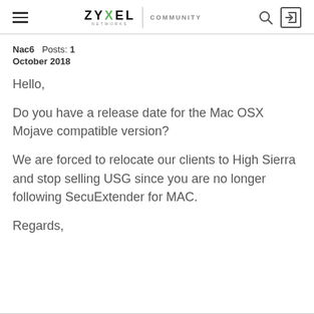ZYXEL NETWORKS | COMMUNITY
Nac6  Posts: 1
October 2018
Hello,

Do you have a release date for the Mac OSX Mojave compatible version?

We are forced to relocate our clients to High Sierra and stop selling USG since you are no longer following SecuExtender for MAC.

Regards,